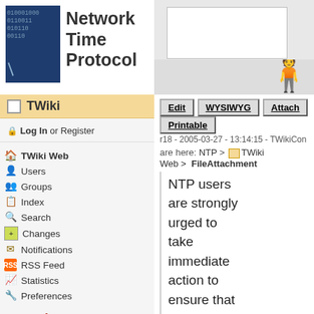[Figure (logo): Network Time Protocol logo with binary digits and wrench icon]
TWiki sidebar header with login and navigation
Log In or Register
TWiki Web
Users
Groups
Index
Search
Changes
Notifications
RSS Feed
Statistics
Preferences
User Reference
ATasteOfTWiki
TextFormattingRules
TWikiVariables
FormattedSearch
Edit   WYSIWYG   Attach   Printable
r18 - 2005-03-27 - 13:14:15 - TWikiCon
are here: NTP > TWiki Web > FileAttachment
NTP users are strongly urged to take immediate action to ensure that their NTP daemons are not susceptible